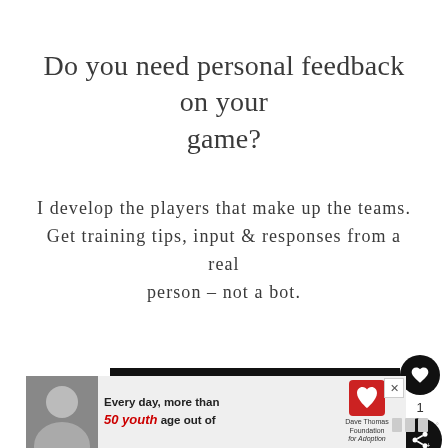Do you need personal feedback on your game?
I develop the players that make up the teams. Get training tips, input & responses from a real person – not a bot.
SUBSCRIBE TO NEWSLETTER
[Figure (screenshot): Advertisement banner: photo of a young woman, text 'Every day, more than 50 youth age out of', Dave Thomas Foundation for Adoption logo, and a close button.]